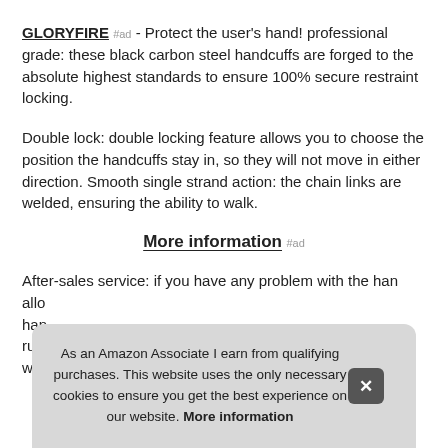GLORYFIRE #ad - Protect the user's hand! professional grade: these black carbon steel handcuffs are forged to the absolute highest standards to ensure 100% secure restraint locking.
Double lock: double locking feature allows you to choose the position the handcuffs stay in, so they will not move in either direction. Smooth single strand action: the chain links are welded, ensuring the ability to walk.
More information #ad
After-sales service: if you have any problem with the han... allo... han... rust... with...
As an Amazon Associate I earn from qualifying purchases. This website uses the only necessary cookies to ensure you get the best experience on our website. More information